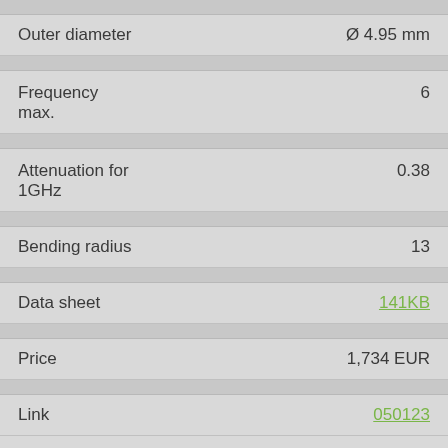| Property | Value |
| --- | --- |
| Outer diameter | Ø 4.95 mm |
| Frequency max. | 6 |
| Attenuation for 1GHz | 0.38 |
| Bending radius | 13 |
| Data sheet | 141KB |
| Price | 1,734 EUR |
| Link | 050123 |